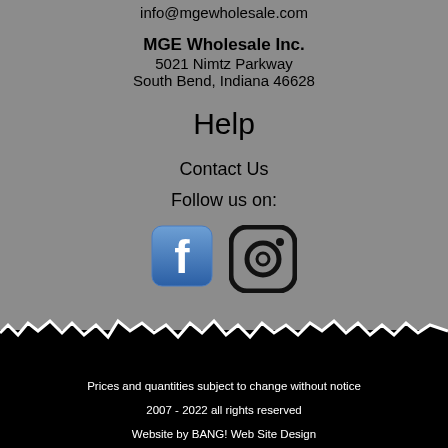info@mgewholesale.com
MGE Wholesale Inc.
5021 Nimtz Parkway
South Bend, Indiana 46628
Help
Contact Us
Follow us on:
[Figure (logo): Facebook and Instagram social media icons]
Prices and quantities subject to change without notice
2007 - 2022 all rights reserved
Website by BANG! Web Site Design